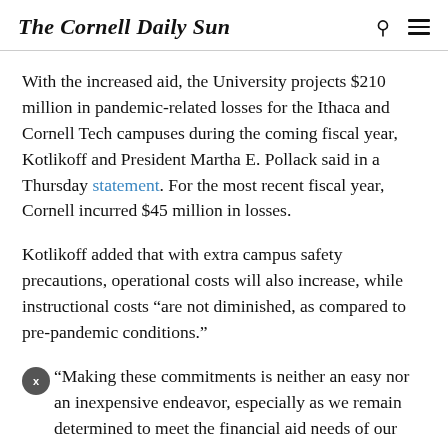The Cornell Daily Sun
With the increased aid, the University projects $210 million in pandemic-related losses for the Ithaca and Cornell Tech campuses during the coming fiscal year, Kotlikoff and President Martha E. Pollack said in a Thursday statement. For the most recent fiscal year, Cornell incurred $45 million in losses.
Kotlikoff added that with extra campus safety precautions, operational costs will also increase, while instructional costs “are not diminished, as compared to pre-pandemic conditions.”
“Making these commitments is neither an easy nor an inexpensive endeavor, especially as we remain determined to meet the financial aid needs of our students,” Kotlikoff told The Sun in an email. “Students